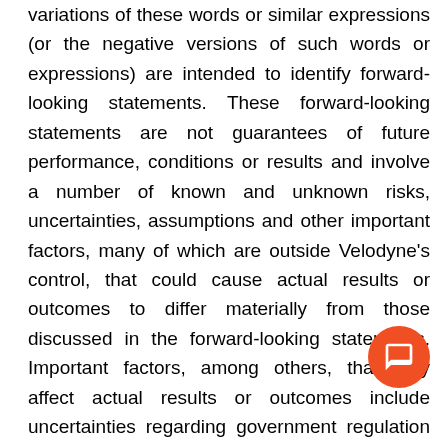variations of these words or similar expressions (or the negative versions of such words or expressions) are intended to identify forward-looking statements. These forward-looking statements are not guarantees of future performance, conditions or results and involve a number of known and unknown risks, uncertainties, assumptions and other important factors, many of which are outside Velodyne's control, that could cause actual results or outcomes to differ materially from those discussed in the forward-looking statements. Important factors, among others, that may affect actual results or outcomes include uncertainties regarding government regulation and adoption of lidar, the uncertain impact of the COVID-19 pandemic on Velodyne's and its customers' businesses; Velodyne's ability to manage growth; Velodyne's ability to execute its business plan; uncertainties related to the ability of Velodyne's customers to commercialize their products and the degree of market acceptance of these products; the rate and degree of